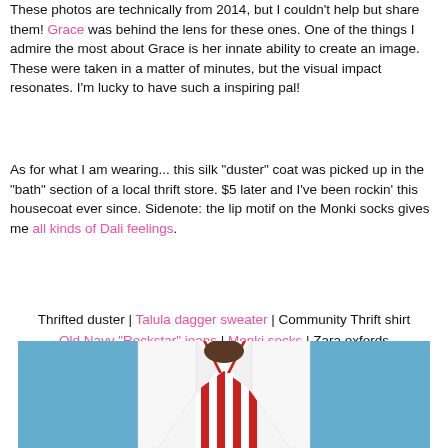These photos are technically from 2014, but I couldn't help but share them! Grace was behind the lens for these ones. One of the things I admire the most about Grace is her innate ability to create an image. These were taken in a matter of minutes, but the visual impact resonates. I'm lucky to have such a inspiring pal!
As for what I am wearing... this silk "duster" coat was picked up in the "bath" section of a local thrift store. $5 later and I've been rockin' this housecoat ever since. Sidenote: the lip motif on the Monki socks gives me all kinds of Dali feelings.
Thrifted duster | Talula dagger sweater | Community Thrift shirt
Old Navy "Rockstar" jeans | Monki socks | Zara oxfords
Wilfred hat | Clearly Contacts glasses
[Figure (photo): Photo of a person wearing a white coat with a red and white striped shirt/tie, against a blue background, cropped at the neckline]